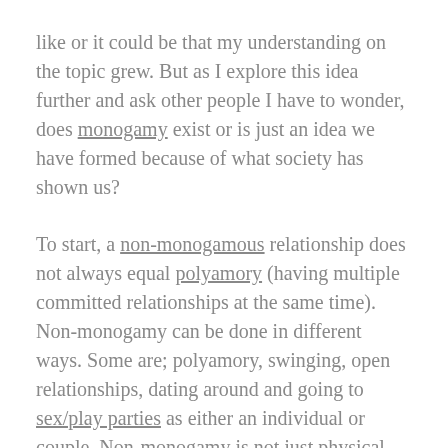like or it could be that my understanding on the topic grew. But as I explore this idea further and ask other people I have to wonder, does monogamy exist or is just an idea we have formed because of what society has shown us?
To start, a non-monogamous relationship does not always equal polyamory (having multiple committed relationships at the same time). Non-monogamy can be done in different ways. Some are; polyamory, swinging, open relationships, dating around and going to sex/play parties as either an individual or couple. Non-monogamy is not just physical acts with other people. Sometimes you can be sexually intimate with someone and have another person whom you share emotional intimacy with. This is an example